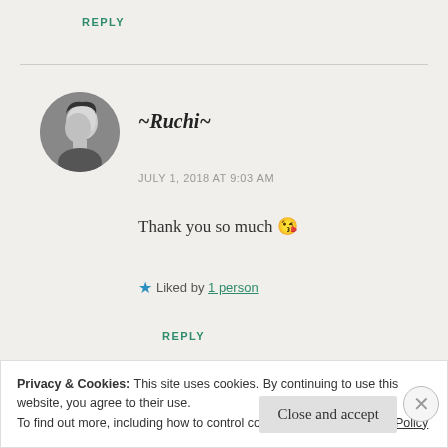REPLY
[Figure (photo): Black and white circular avatar photo of a man looking downward]
~Ruchi~
JULY 1, 2018 AT 9:03 AM
Thank you so much 😘
★ Liked by 1 person
REPLY
Privacy & Cookies: This site uses cookies. By continuing to use this website, you agree to their use.
To find out more, including how to control cookies, see here: Cookie Policy